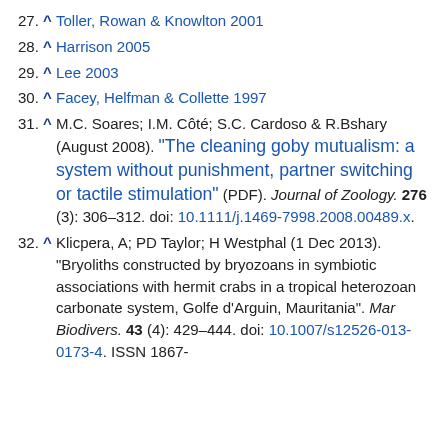27. ^ Toller, Rowan & Knowlton 2001
28. ^ Harrison 2005
29. ^ Lee 2003
30. ^ Facey, Helfman & Collette 1997
31. ^ M.C. Soares; I.M. Côté; S.C. Cardoso & R.Bshary (August 2008). "The cleaning goby mutualism: a system without punishment, partner switching or tactile stimulation" (PDF). Journal of Zoology. 276 (3): 306–312. doi: 10.1111/j.1469-7998.2008.00489.x.
32. ^ Klicpera, A; PD Taylor; H Westphal (1 Dec 2013). "Bryoliths constructed by bryozoans in symbiotic associations with hermit crabs in a tropical heterozoan carbonate system, Golfe d'Arguin, Mauritania". Mar Biodivers. 43 (4): 429–444. doi: 10.1007/s12526-013-0173-4. ISSN 1867-